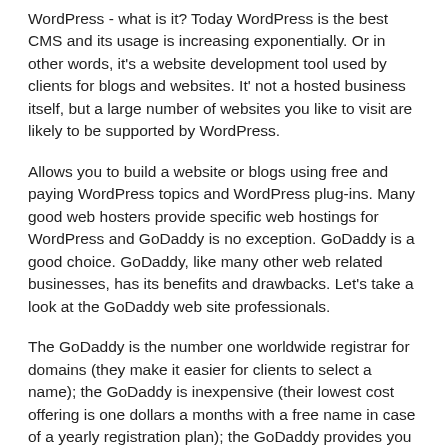WordPress - what is it? Today WordPress is the best CMS and its usage is increasing exponentially. Or in other words, it's a website development tool used by clients for blogs and websites. It' not a hosted business itself, but a large number of websites you like to visit are likely to be supported by WordPress.
Allows you to build a website or blogs using free and paying WordPress topics and WordPress plug-ins. Many good web hosters provide specific web hostings for WordPress and GoDaddy is no exception. GoDaddy is a good choice. GoDaddy, like many other web related businesses, has its benefits and drawbacks. Let's take a look at the GoDaddy web site professionals.
The GoDaddy is the number one worldwide registrar for domains (they make it easier for clients to select a name); the GoDaddy is inexpensive (their lowest cost offering is one dollars a months with a free name in case of a yearly registration plan); the GoDaddy provides you with different schedules according to your needs with different service;
There are two types of controls you can select from: cPanel